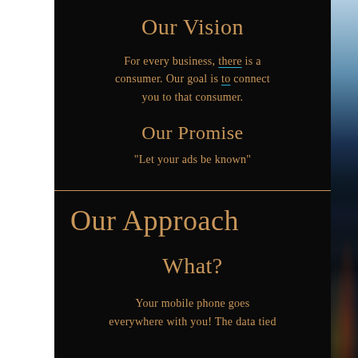Our Vision
For every business, there is a consumer. Our goal is to connect you to that consumer.
Our Promise
"Let your ads be known"
Our Approach
What?
Your mobile phone goes everywhere with you! The data tied